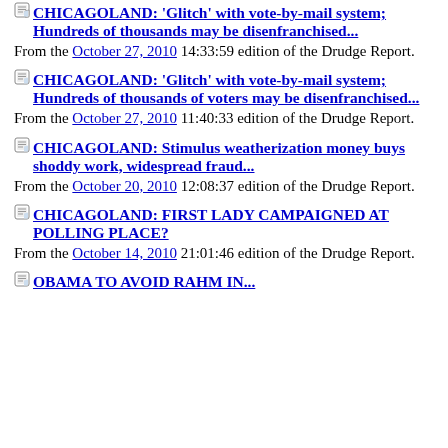CHICAGOLAND: 'Glitch' with vote-by-mail system; Hundreds of thousands may be disenfranchised... From the October 27, 2010 14:33:59 edition of the Drudge Report.
CHICAGOLAND: 'Glitch' with vote-by-mail system; Hundreds of thousands of voters may be disenfranchised... From the October 27, 2010 11:40:33 edition of the Drudge Report.
CHICAGOLAND: Stimulus weatherization money buys shoddy work, widespread fraud... From the October 20, 2010 12:08:37 edition of the Drudge Report.
CHICAGOLAND: FIRST LADY CAMPAIGNED AT POLLING PLACE? From the October 14, 2010 21:01:46 edition of the Drudge Report.
OBAMA TO AVOID RAHM IN...